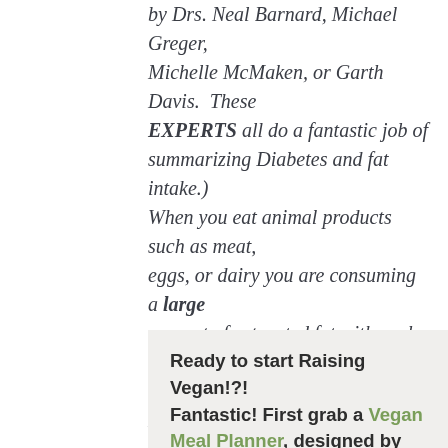by Drs. Neal Barnard, Michael Greger, Michelle McMaken, or Garth Davis. These EXPERTS all do a fantastic job of summarizing Diabetes and fat intake.) When you eat animal products such as meat, eggs, or dairy you are consuming a large amount of saturated fat with each bite. Therefore, the best way to prevent Diabetes is to limit FAT intake by eating a plant-based diet.
Ready to start Raising Vegan!?! Fantastic! First grab a Vegan Meal Planner, designed by